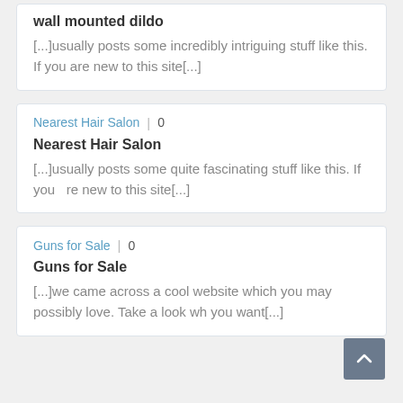wall mounted dildo
[...]usually posts some incredibly intriguing stuff like this. If you are new to this site[...]
Nearest Hair Salon  |  0
Nearest Hair Salon
[...]usually posts some quite fascinating stuff like this. If you   re new to this site[...]
Guns for Sale  |  0
Guns for Sale
[...]we came across a cool website which you may possibly love. Take a look wh you want[...]